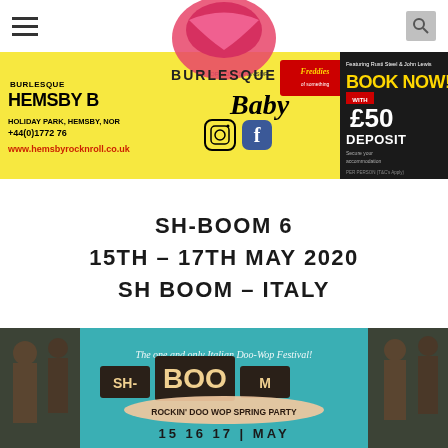Navigation bar with hamburger menu and search icon; Burlesque logo centered
[Figure (infographic): Hemsby Rock n Roll event advertisement banner: HEMSBY BEACH HOLIDAY PARK, HEMSBY, NORFOLK, +44(0)1772 76..., www.hemsbyrocknroll.co.uk, Baby official sponsor, Freddies, BOOK NOW! with £50 DEPOSIT PER PERSON (T&C's Apply), Featuring Rusti Steel & John Lewis, Instagram and Facebook icons]
SH-BOOM 6
15TH – 17TH MAY 2020
SH BOOM – ITALY
[Figure (photo): SH-BOOM Rockin' Doo Wop Spring Party event poster with teal background. Text: The one and only Italian Doo-Wop Festival! SH-BOOM ROCKIN' DOO WOP SPRING PARTY 15 16 17 | MAY. Silhouettes of men in suits on left and right sides.]